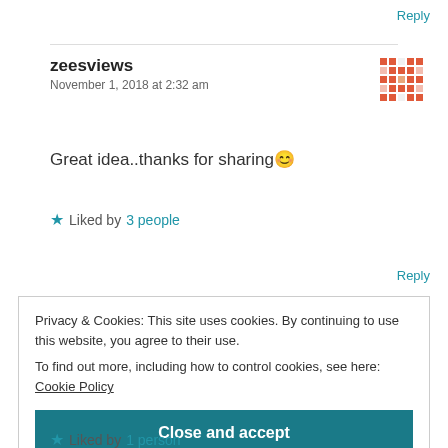Reply
zeesviews
November 1, 2018 at 2:32 am
[Figure (other): Pixelated red/orange avatar pattern for user zeesviews]
Great idea..thanks for sharing 😊
★ Liked by 3 people
Reply
Privacy & Cookies: This site uses cookies. By continuing to use this website, you agree to their use.
To find out more, including how to control cookies, see here: Cookie Policy
Close and accept
★ Liked by 1 person